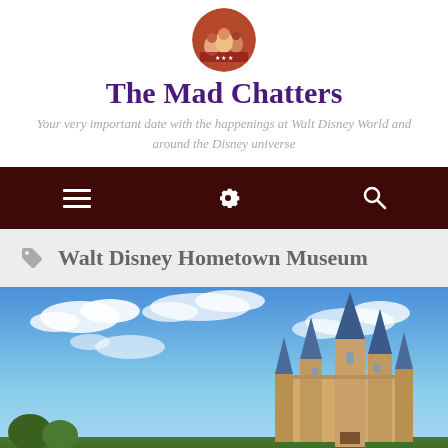[Figure (logo): Circular logo image with colorful characters or scene, used as site header icon]
The Mad Chatters
Your very important date with the happenings at Walt Disney World and around the Disney universe
[Figure (infographic): Dark maroon navigation bar with three icons: hamburger menu, gear/settings, and search magnifying glass]
Walt Disney Hometown Museum
[Figure (photo): Photo of a Disney castle (resembling Sleeping Beauty Castle or Cinderella Castle) against a blue sky with scattered white clouds, taken from ground level]